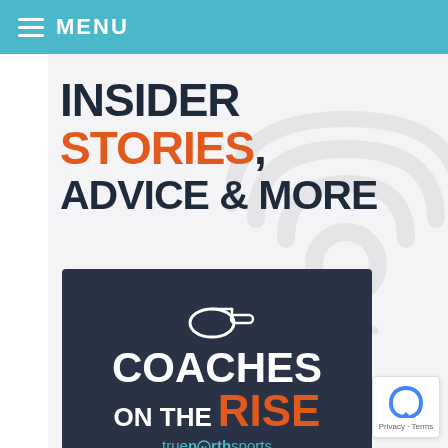MENU
INSIDER STORIES, ADVICE & MORE
[Figure (logo): Coaches on the Rise podcast logo with whistle icon, white text 'COACHES' and 'ON THE', orange 'RISE', and teal 'truenorthsports' on dark navy background]
[Figure (other): reCAPTCHA badge with Privacy · Terms text]